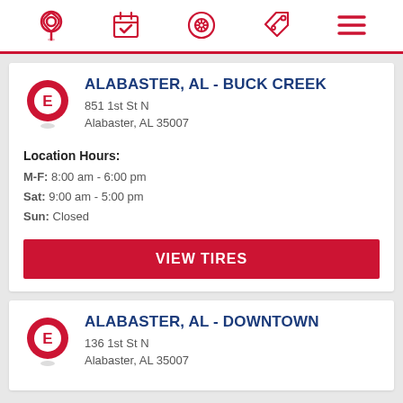[Figure (screenshot): Navigation bar with icons: location pin, calendar/checkmark, tire/wheel, price tag with percent, hamburger menu — all in red]
ALABASTER, AL - BUCK CREEK
851 1st St N
Alabaster, AL 35007
Location Hours:
M-F: 8:00 am - 6:00 pm
Sat: 9:00 am - 5:00 pm
Sun: Closed
VIEW TIRES
ALABASTER, AL - DOWNTOWN
136 1st St N
Alabaster, AL 35007